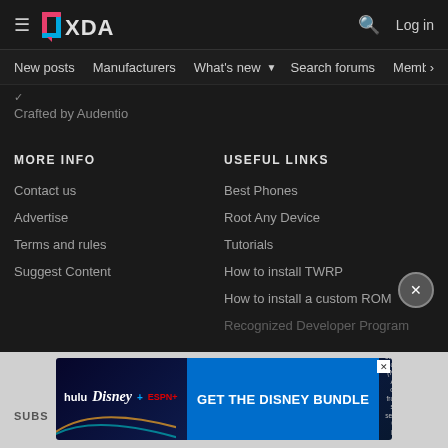XDA — Navigation bar with New posts, Manufacturers, What's new, Search forums, Members
Crafted by Audentio
MORE INFO
Contact us
Advertise
Terms and rules
Suggest Content
USEFUL LINKS
Best Phones
Root Any Device
Tutorials
How to install TWRP
How to install a custom ROM
Recognized Developer Program
[Figure (screenshot): Disney Bundle advertisement banner: GET THE DISNEY BUNDLE — hulu, Disney+, ESPN+. Incl. Hulu (ad-supported) or Hulu (No Ads). Access content from each service separately. ©2021 Disney and its related entities.]
SUBS